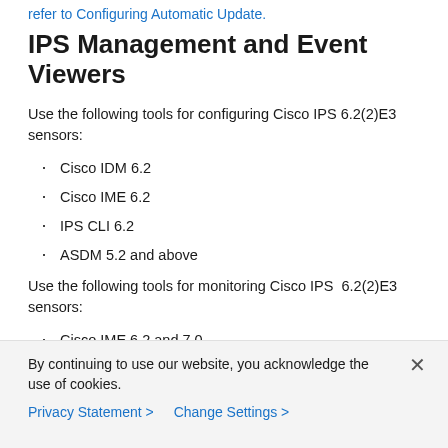refer to Configuring Automatic Update.
IPS Management and Event Viewers
Use the following tools for configuring Cisco IPS 6.2(2)E3 sensors:
Cisco IDM 6.2
Cisco IME 6.2
IPS CLI 6.2
ASDM 5.2 and above
Use the following tools for monitoring Cisco IPS 6.2(2)E3 sensors:
Cisco IME 6.2 and 7.0
CSM 4.0
By continuing to use our website, you acknowledge the use of cookies.
Privacy Statement > Change Settings >